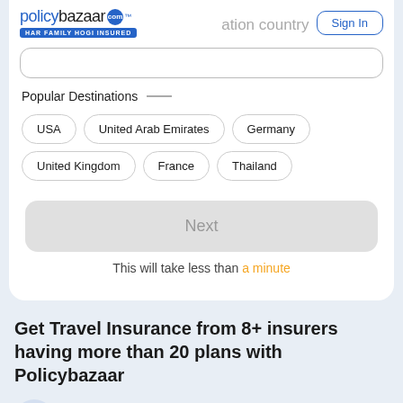[Figure (logo): Policybazaar logo with 'HAR FAMILY HOGI INSURED' tagline, blue and black text]
ation country
Sign In
Popular Destinations
USA
United Arab Emirates
Germany
United Kingdom
France
Thailand
Next
This will take less than a minute
Get Travel Insurance from 8+ insurers having more than 20 plans with Policybazaar